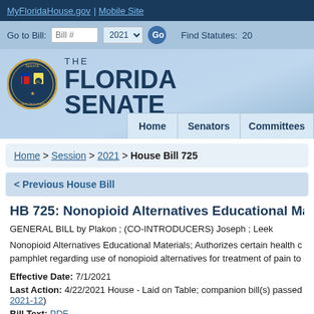MyFloridaHouse.gov | Mobile Site
Go to Bill: Bill # 2021 Go   Find Statutes: 20...
[Figure (logo): The Florida Senate logo with seal]
Home  Senators  Committees
Home > Session > 2021 > House Bill 725
< Previous House Bill
HB 725: Nonopioid Alternatives Educational Mat...
GENERAL BILL by Plakon ; (CO-INTRODUCERS) Joseph ; Leek
Nonopioid Alternatives Educational Materials; Authorizes certain health c... pamphlet regarding use of nonopioid alternatives for treatment of pain to...
Effective Date: 7/1/2021
Last Action: 4/22/2021 House - Laid on Table; companion bill(s) passed... 2021-12)
Bill Text: PDF